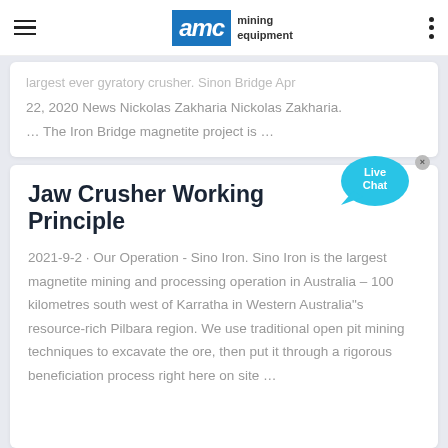AMC mining equipment
largest ever gyratory crusher. Sinon Bridge Apr 22, 2020 News Nickolas Zakharia Nickolas Zakharia. … The Iron Bridge magnetite project is …
Jaw Crusher Working Principle
2021-9-2 · Our Operation - Sino Iron. Sino Iron is the largest magnetite mining and processing operation in Australia – 100 kilometres south west of Karratha in Western Australia"s resource-rich Pilbara region. We use traditional open pit mining techniques to excavate the ore, then put it through a rigorous beneficiation process right here on site …